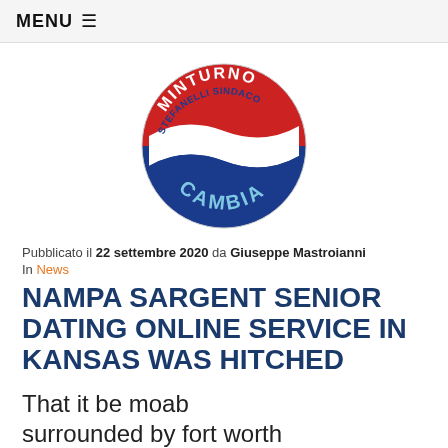MENU ≡
[Figure (logo): Circular logo with red top half reading 'MINTURNO', white diagonal band reading 'STEFANELLI SINDACO', and blue bottom half reading 'CAMBIA']
Pubblicato il 22 settembre 2020 da Giuseppe Mastroianni
In News
NAMPA SARGENT SENIOR DATING ONLINE SERVICE IN KANSAS WAS HITCHED
That it be moab surrounded by fort worth